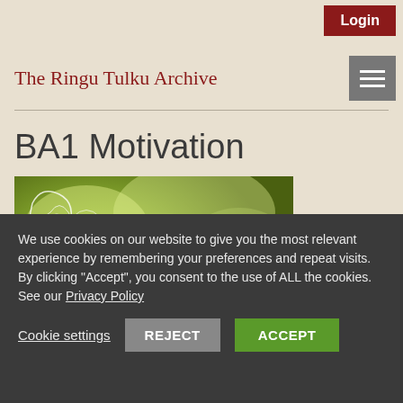Login
The Ringu Tulku Archive
BA1 Motivation
[Figure (photo): Photograph of a Tibetan Buddhist monk (Ringu Tulku) smiling, wearing red and orange robes, with green trees in the background and decorative white line art overlay on the left portion of the image.]
We use cookies on our website to give you the most relevant experience by remembering your preferences and repeat visits. By clicking "Accept", you consent to the use of ALL the cookies. See our Privacy Policy
Cookie settings   REJECT   ACCEPT